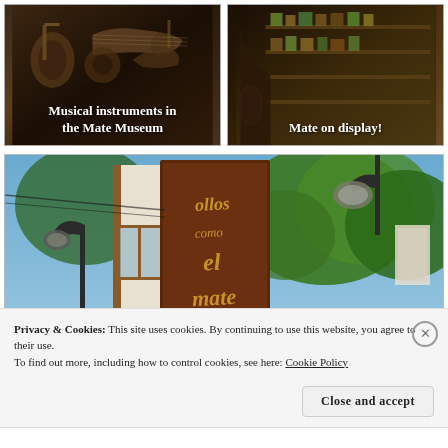[Figure (photo): Musical instruments displayed on a wall in the Mate Museum, dark background with various instruments]
Musical instruments in the Mate Museum
[Figure (photo): Mate products on display in shelves in a store or museum]
Mate on display!
[Figure (photo): Outdoor sign reading 'ollos como el mate' on a wooden board near trees and street lamps]
Privacy & Cookies: This site uses cookies. By continuing to use this website, you agree to their use.
To find out more, including how to control cookies, see here: Cookie Policy
Close and accept